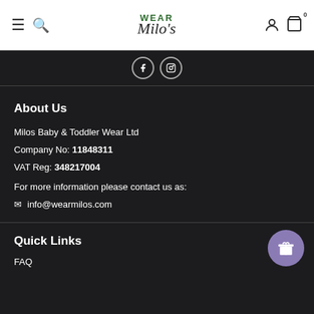WEAR Milo's
[Figure (illustration): Facebook and Instagram social media icons on dark background]
About Us
Milos Baby & Toddler Wear Ltd
Company No: 11848311
VAT Reg: 348217004
For more information please contact us as:
info@wearmilos.com
Quick Links
FAQ